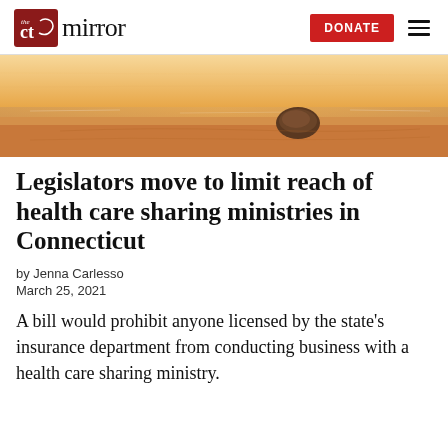the CT mirror | DONATE
[Figure (photo): Aerial or beach-level photo of sandy beach with warm golden/amber tones, a dark rounded rock or mound visible on the sand near water's edge]
Legislators move to limit reach of health care sharing ministries in Connecticut
by Jenna Carlesso
March 25, 2021
A bill would prohibit anyone licensed by the state's insurance department from conducting business with a health care sharing ministry.